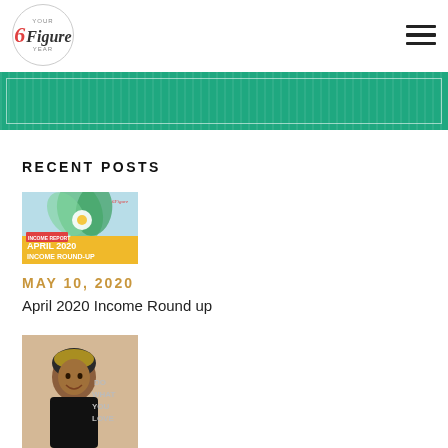[Figure (logo): Your 6 Figure Year circular logo with red and dark italic script]
[Figure (illustration): Hamburger menu icon (three horizontal lines)]
[Figure (photo): Green teal banner with white border inset and vertical stripe texture]
RECENT POSTS
[Figure (photo): April 2020 Income Round-up post thumbnail with daisy flower and yellow Income Report label]
MAY 10, 2020
April 2020 Income Round up
[Figure (photo): Second blog post thumbnail showing a woman smiling with text 'DO WHAT YOU LOVE']